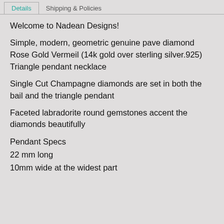Details   Shipping & Policies
Welcome to Nadean Designs!
Simple, modern, geometric genuine pave diamond Rose Gold Vermeil (14k gold over sterling silver.925) Triangle pendant necklace
Single Cut Champagne diamonds are set in both the bail and the triangle pendant
Faceted labradorite round gemstones accent the diamonds beautifully
Pendant Specs
22 mm long
10mm wide at the widest part